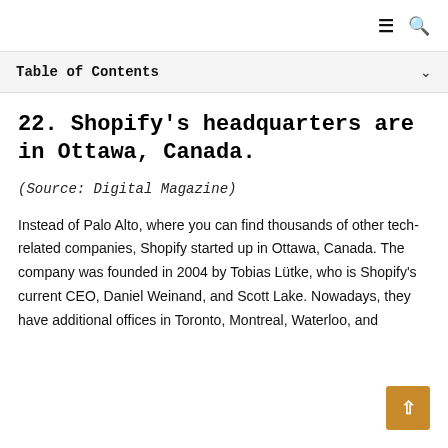≡ 🔍
Table of Contents
22. Shopify's headquarters are in Ottawa, Canada.
(Source: Digital Magazine)
Instead of Palo Alto, where you can find thousands of other tech-related companies, Shopify started up in Ottawa, Canada. The company was founded in 2004 by Tobias Lütke, who is Shopify's current CEO, Daniel Weinand, and Scott Lake. Nowadays, they have additional offices in Toronto, Montreal, Waterloo, and